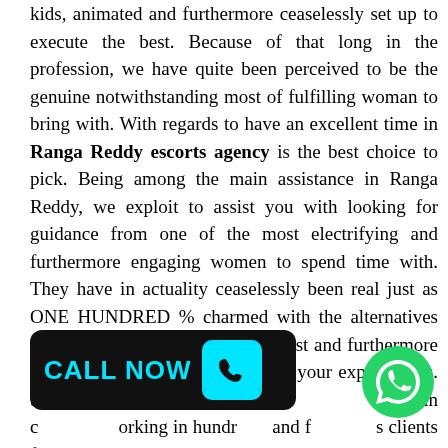kids, animated and furthermore ceaselessly set up to execute the best. Because of that long in the profession, we have quite been perceived to be the genuine notwithstanding most of fulfilling woman to bring with. With regards to have an excellent time in Ranga Reddy escorts agency is the best choice to pick. Being among the main assistance in Ranga Reddy, we exploit to assist you with looking for guidance from one of the most electrifying and furthermore engaging women to spend time with. They have in actuality ceaselessly been real just as ONE HUNDRED % charmed with the alternatives they give. We perceive your interest and furthermore we set sure to fulfill every one of your expectations. Since our beginning, we have in countless working in hundreds and fulfilling clients from all through the country duty. Our clients have very gotten back to us at whatever point they require
[Figure (other): Black rounded rectangle badge with cyan 'CALL NOW' text and a cyan telephone icon on the right side]
[Figure (other): Green WhatsApp circular bubble icon with white phone/chat logo]